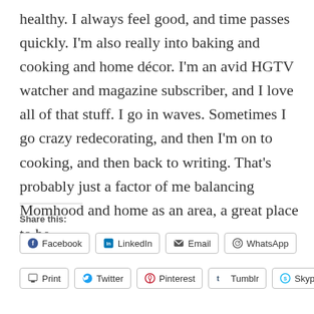healthy.  I always feel good, and time passes quickly.  I'm also really into baking and cooking and home décor.  I'm an avid HGTV watcher and magazine subscriber, and I love all of that stuff.  I go in waves.  Sometimes I go crazy redecorating, and then I'm on to cooking, and then back to writing.  That's probably just a factor of me balancing Momhood and home as an area, a great place to be.
Share this:
Facebook  LinkedIn  Email  WhatsApp  Print  Twitter  Pinterest  Tumblr  Skype